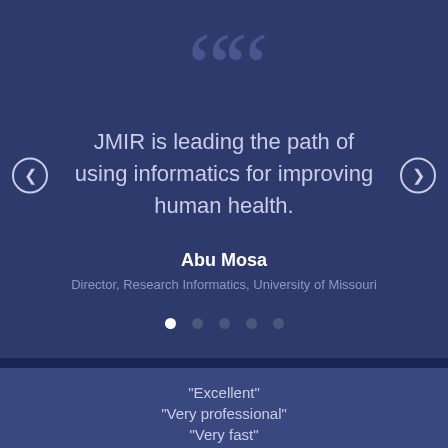[Figure (screenshot): Testimonial slider UI with dark navy background showing a quotation mark graphic, quote text, author name and title, navigation arrows, and pagination dots]
JMIR is leading the path of using informatics for improving human health.
Abu Mosa
Director, Research Informatics, University of Missouri
"Excellent"
"Very professional"
"Very fast"